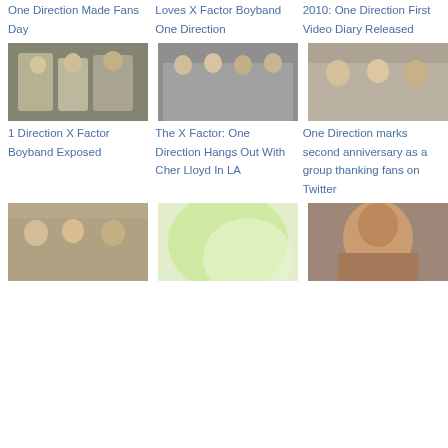One Direction Made Fans Day
Loves X Factor Boyband One Direction
2010: One Direction First Video Diary Released
[Figure (photo): Group photo of One Direction boys outdoors]
1 Direction X Factor Boyband Exposed
[Figure (photo): One Direction hanging out with Cher Lloyd in LA]
The X Factor: One Direction Hangs Out With Cher Lloyd In LA
[Figure (photo): One Direction members sitting together indoors]
One Direction marks second anniversary as a group thanking fans on Twitter
[Figure (photo): One Direction members sitting together, similar indoor setting]
[Figure (photo): Green and white abstract light image]
[Figure (photo): Close-up of a young man with curly hair smiling]